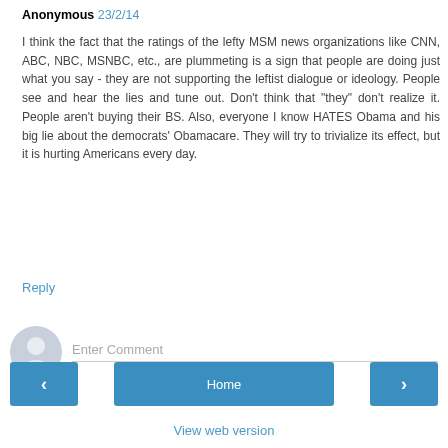Anonymous 23/2/14
I think the fact that the ratings of the lefty MSM news organizations like CNN, ABC, NBC, MSNBC, etc., are plummeting is a sign that people are doing just what you say - they are not supporting the leftist dialogue or ideology. People see and hear the lies and tune out. Don't think that "they" don't realize it. People aren't buying their BS. Also, everyone I know HATES Obama and his big lie about the democrats' Obamacare. They will try to trivialize its effect, but it is hurting Americans every day.
Reply
Enter Comment
Home
View web version